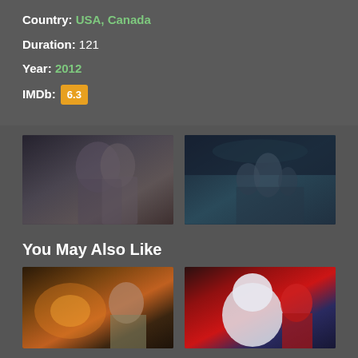Country: USA, Canada
Duration: 121
Year: 2012
IMDb: 6.3
[Figure (photo): Two movie screenshots side by side: left shows two people in an action scene, right shows sci-fi movie poster with characters]
You May Also Like
[Figure (photo): Two movie recommendation thumbnails: left shows action movie with explosion, right shows animated movie Big Hero 6]